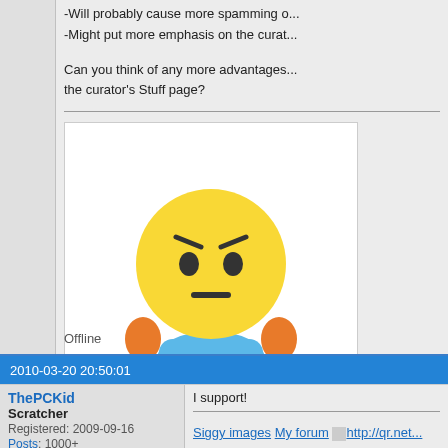-Will probably cause more spamming o...
-Might put more emphasis on the cura...
Can you think of any more advantages... the curator's Stuff page?
[Figure (illustration): Tinypic broken image placeholder showing an upset yellow emoji character with orange hands and blue body, with text 'This image is no longer available. Visit tinypic.com for more information.']
Offline
2010-03-20 20:50:01
ThePCKid
Scratcher
Registered: 2009-09-16
Posts: 1000+
I support!
Offline
Siggy images My forum http://qr.net...